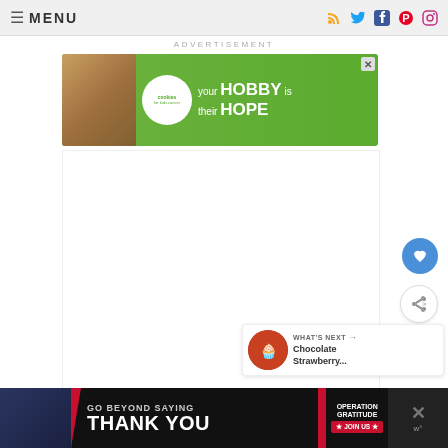☰ MENU
ADVERTISEMENT
[Figure (infographic): Cookies for Kids Cancer advertisement banner: green background with white circle logo, heart-shaped cookie image, text 'your HOBBY is their HOPE']
[Figure (infographic): Bottom advertisement banner: dark background, 'GO BEYOND SAYING THANK YOU' with Operation Gratitude logo and JOIN US button]
WHAT'S NEXT → Chocolate Strawberry...